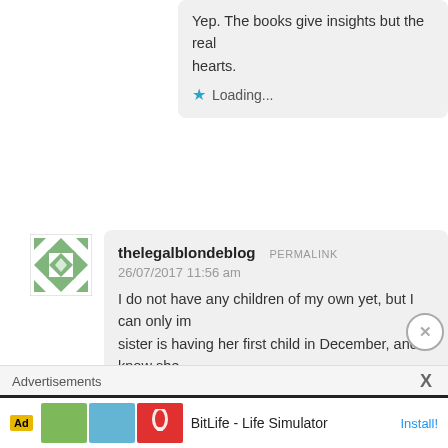Yep. The books give insights but the real... hearts.
Loading...
thelegalblondeblog PERMALINK
26/07/2017 11:56 am
I do not have any children of my own yet, but I can only im... sister is having her first child in December, and I know she... parent her child. Thanks for sharing!
Loading...
Advertisements
BitLife - Life Simulator
Install!